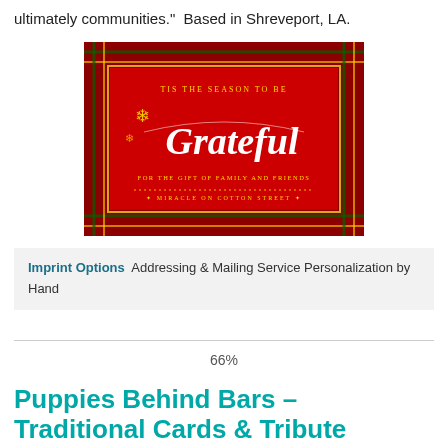ultimately communities." Based in Shreveport, LA.
[Figure (photo): A red Christmas card with plaid border reading 'Tis the season to be Grateful for the gift of family and friends – Miracle on Cotton Street']
Imprint Options  Addressing & Mailing Service
Personalization by Hand
66%
Puppies Behind Bars – Traditional Cards & Tribute Cards